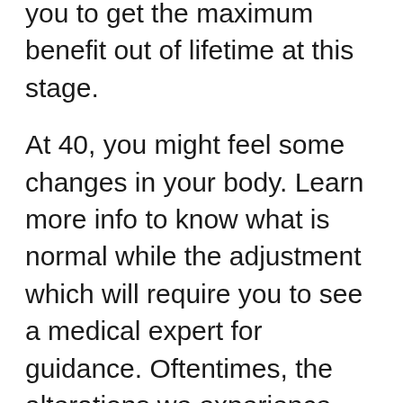following suggestions will help you to get the maximum benefit out of lifetime at this stage.
At 40, you might feel some changes in your body. Learn more info to know what is normal while the adjustment which will require you to see a medical expert for guidance. Oftentimes, the alterations we experience over 40 have been slowly going on throughout the years therefore it won't end up being new. Comprehending the alterations in your body and taking all of them